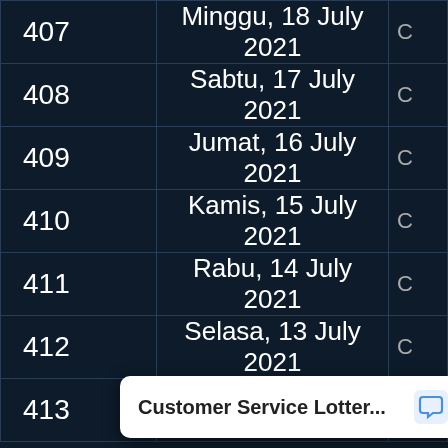| No | Date |  |
| --- | --- | --- |
| 407 | Minggu, 18 July 2021 | C |
| 408 | Sabtu, 17 July 2021 | C |
| 409 | Jumat, 16 July 2021 | C |
| 410 | Kamis, 15 July 2021 | C |
| 411 | Rabu, 14 July 2021 | C |
| 412 | Selasa, 13 July 2021 | C |
| 413 | ... | C |
Customer Service Lotter...